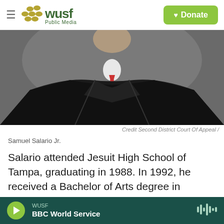WUSF Public Media — Donate
[Figure (photo): Photo of Samuel Salario Jr. wearing black judicial robes with a white collar and red tie, cropped to show torso and lower face/neck area against a neutral gray background.]
Credit Second District Court Of Appeal /
Samuel Salario Jr.
Salario attended Jesuit High School of Tampa, graduating in 1988. In 1992, he received a Bachelor of Arts degree in Philosophy and Political Science from The American University in Washington, D.C. He returned to Florida for law school, graduating with high honors in 1995 from the University of
WUSF BBC World Service